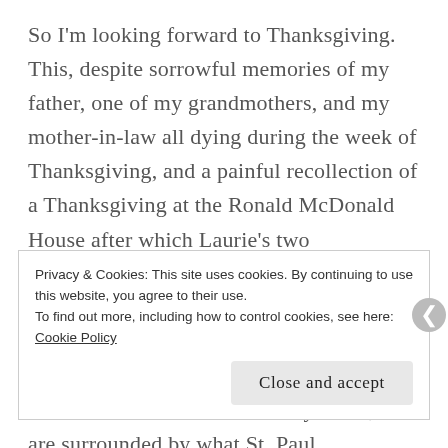So I'm looking forward to Thanksgiving. This, despite sorrowful memories of my father, one of my grandmothers, and my mother-in-law all dying during the week of Thanksgiving, and a painful recollection of a Thanksgiving at the Ronald McDonald House after which Laurie's two stepbrothers saw her for the last time. Or maybe those deaths actually help make the celebration more joyous. That when Mary Lee's children and their families and her sister and sometimes her family come, we are surrounded by what St. Paul
Privacy & Cookies: This site uses cookies. By continuing to use this website, you agree to their use.
To find out more, including how to control cookies, see here: Cookie Policy
Close and accept